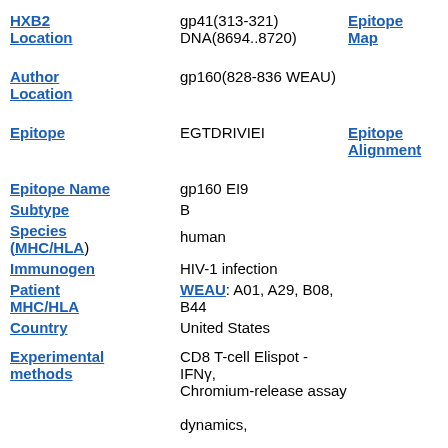HXB2 Location: gp41(313-321) DNA(8694..8720) | Epitope Map
Author Location: gp160(828-836 WEAU)
Epitope: EGTDRIVIEI | Epitope Alignment
Epitope Name: gp160 EI9
Subtype: B
Species (MHC/HLA): human
Immunogen: HIV-1 infection
Patient MHC/HLA: WEAU: A01, A29, B08, B44
Country: United States
Experimental methods: CD8 T-cell Elispot - IFNγ, Chromium-release assay dynamics,